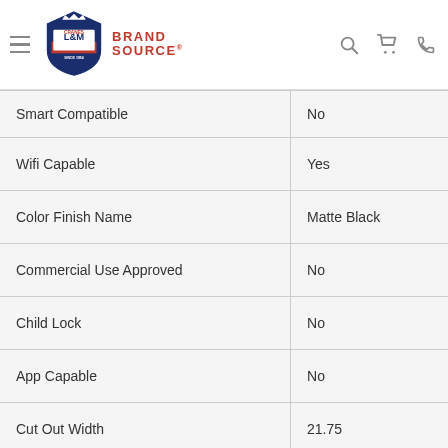Cranes L&M Appliance Brand Source — navigation header
| Feature | Value |
| --- | --- |
| Smart Compatible | No |
| Wifi Capable | Yes |
| Color Finish Name | Matte Black |
| Commercial Use Approved | No |
| Child Lock | No |
| App Capable | No |
| Cut Out Width | 21.75 |